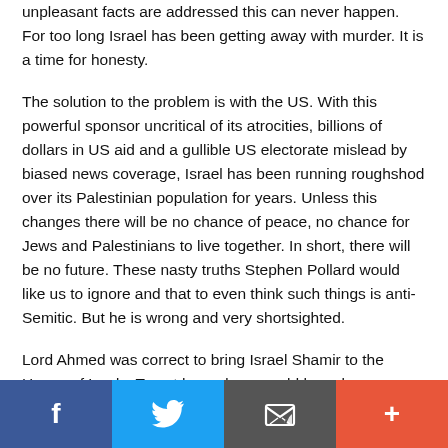unpleasant facts are addressed this can never happen. For too long Israel has been getting away with murder. It is a time for honesty.
The solution to the problem is with the US. With this powerful sponsor uncritical of its atrocities, billions of dollars in US aid and a gullible US electorate mislead by biased news coverage, Israel has been running roughshod over its Palestinian population for years. Unless this changes there will be no chance of peace, no chance for Jews and Palestinians to live together. In short, there will be no future. These nasty truths Stephen Pollard would like us to ignore and that to even think such things is anti-Semitic. But he is wrong and very shortsighted.
Lord Ahmed was correct to bring Israel Shamir to the House of Lords. To not have done would have been cowardly.